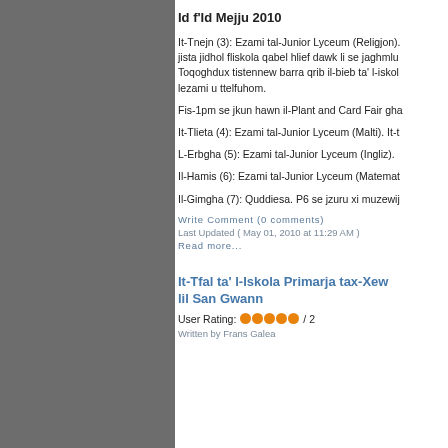Id f'Id Mejju 2010
It-Tnejn (3): Ezami tal-Junior Lyceum (Religjon). jista jidhol fliskola qabel hlief dawk li se jaghmlu Toqoghdux tistennew barra qrib il-bieb ta' l-iskol lezami u ttelfuhom.
Fis-1pm se jkun hawn il-Plant and Card Fair gha
It-Tlieta (4): Ezami tal-Junior Lyceum (Malti). It-t
L-Erbgha (5): Ezami tal-Junior Lyceum (Ingliz).
Il-Hamis (6): Ezami tal-Junior Lyceum (Matemat
Il-Gimgha (7): Quddiesa. P6 se jzuru xi muzewij
Write Comment (0 comments)
Last Updated ( May 01, 2010 at 11:29 AM )
Read more...
It-Tfal ta' l-Iskola Primarja tax-Xew lil San Gwann
User Rating: ●●●●● / 2
Written by Frans Galea